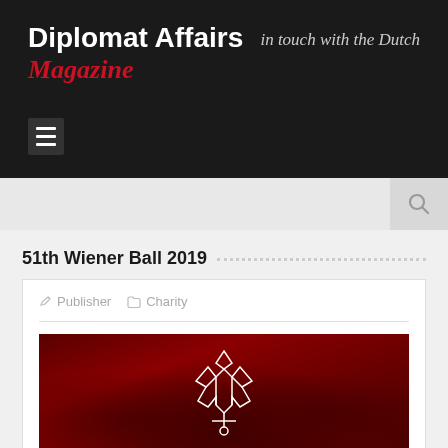Diplomat Affairs Magazine — in touch with the Dutch
[Figure (screenshot): Website screenshot of Diplomat Affairs Magazine showing header with logo, tagline 'in touch with the Dutch', hamburger menu icon, search bar, article title '51th Wiener Ball 2019', article card with publisher and Charity metadata, and a red-tinted crowd photo with a decorative emblem]
51th Wiener Ball 2019
Publisher  Charity